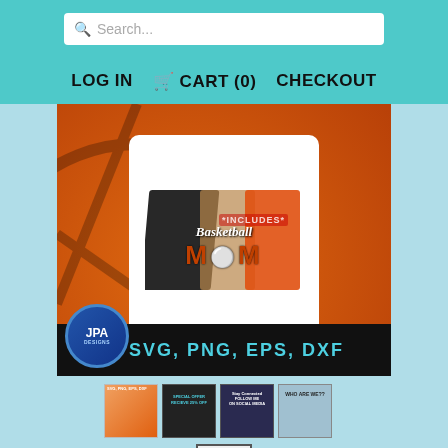Search...
LOG IN   CART (0)   CHECKOUT
[Figure (photo): E-commerce product listing showing a white t-shirt with 'Basketball MOM' design featuring leopard print and orange brush strokes, displayed on a person against an orange basketball background. Bottom bar shows 'SVG, PNG, EPS, DXF' in teal text. JPA Designs logo in lower left.]
[Figure (photo): Thumbnail 1: Basketball Mom t-shirt design thumbnail]
[Figure (photo): Thumbnail 2: Special offer - receive 25% off promotional image]
[Figure (photo): Thumbnail 3: Follow me on social media with Facebook, Instagram, Pinterest icons]
[Figure (photo): Thumbnail 4: Who are we? promotional image]
[Figure (photo): Thumbnail 5: Additional design with heart/deer design on striped background]